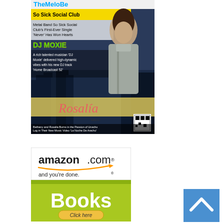[Figure (photo): Music magazine/website screenshot showing: So Sick Social Club article headline, DJ Moxie article, and Rosalia music video article. A woman in a denim jacket stands against a city skyline background. The site header reads 'TheMeloBeam' in blue text.]
[Figure (photo): Amazon.com advertisement banner showing 'amazon.com and you're done.' logo with Books section and a 'Click here' button on a yellow-green background.]
[Figure (photo): Blue square button with white upward chevron/caret arrow, used as a scroll-to-top button.]